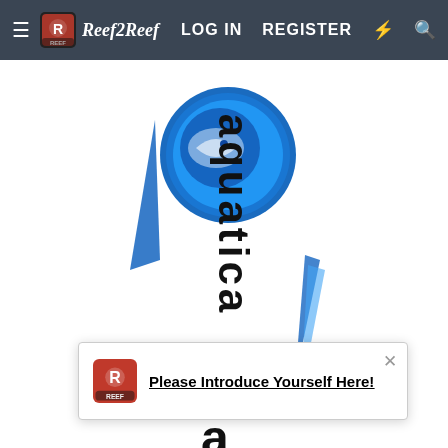Reef2Reef navigation bar with LOG IN, REGISTER links
[Figure (logo): Aquatica brand logo: blue circular fish logo at top, with vertical 'aquatica' text below, blue accent lines, on white background]
Please Introduce Yourself Here!